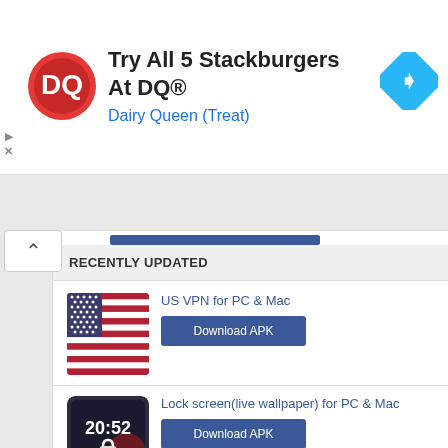[Figure (screenshot): Dairy Queen advertisement banner with DQ logo, text 'Try All 5 Stackburgers At DQ®', subtitle 'Dairy Queen (Treat)', and a blue navigation arrow icon on the right]
RECENTLY UPDATED
[Figure (screenshot): US flag icon representing US VPN app]
US VPN for PC & Mac
Download APK
[Figure (screenshot): Lock screen live wallpaper app icon showing clock at 20:52]
Lock screen(live wallpaper) for PC & Mac
Download APK
[Figure (screenshot): Design It Girl Fashion Salon app icon showing cartoon girl in pink dress]
Design It Girl - Fashion Salon for PC & Mac
Download APK